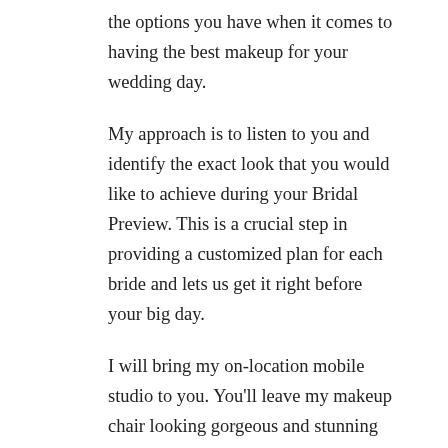the options you have when it comes to having the best makeup for your wedding day.
My approach is to listen to you and identify the exact look that you would like to achieve during your Bridal Preview. This is a crucial step in providing a customized plan for each bride and lets us get it right before your big day.
I will bring my on-location mobile studio to you. You'll leave my makeup chair looking gorgeous and stunning both in person and in your photographs. My skills include applying enough makeup to look good for the cameras yet still have your complexion look as natural as when you were born.